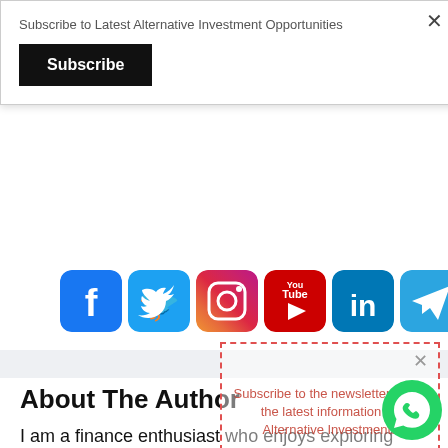Subscribe to Latest Alternative Investment Opportunities
Subscribe
[Figure (illustration): Row of six social media icons: Facebook (blue), Twitter (blue), Instagram (gradient red/purple), YouTube (red), LinkedIn (blue), Telegram (blue)]
About The Author
I am a finance enthusiast who enjoys exploring innovative asset classes and platforms. He has a professional experience of 13+ years working with multinational financial companies in derivative trading strategies, portfolio construction, derivative
[Figure (infographic): Overlay popup with dashed red border containing text: 'Subscribe to the newsletter to get the latest information on Alternative Investments']
[Figure (illustration): WhatsApp green circle button in bottom right corner]